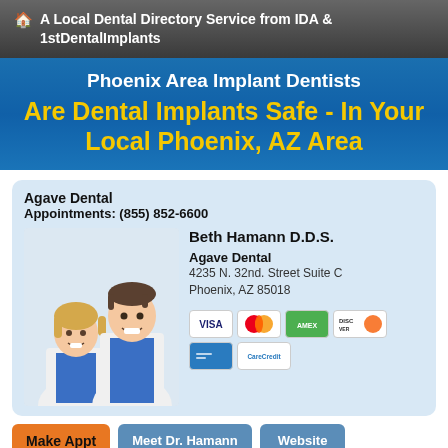A Local Dental Directory Service from IDA & 1stDentalImplants
Phoenix Area Implant Dentists
Are Dental Implants Safe - In Your Local Phoenix, AZ Area
Agave Dental
Appointments: (855) 852-6600
[Figure (photo): Two dental professionals in white lab coats smiling, a woman and a man]
Beth Hamann D.D.S.
Agave Dental
4235 N. 32nd. Street Suite C
Phoenix, AZ 85018
[Figure (other): Payment card logos: VISA, MasterCard, American Express, Discover, a blue card, CareCredit]